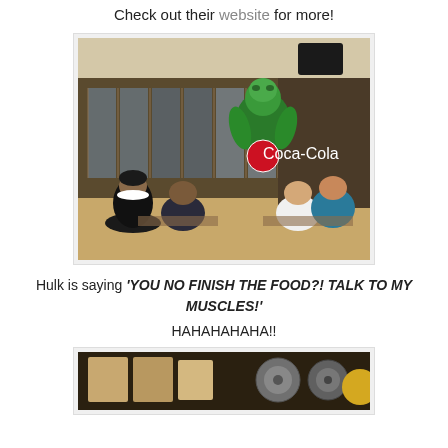Do you know that they offer ride rentals for their Joel Kombi? Check out their website for more!
[Figure (photo): Interior of a restaurant with people sitting at tables; a large Hulk character statue holding a Coca-Cola sign stands in the background near glass doors.]
Hulk is saying 'YOU NO FINISH THE FOOD?! TALK TO MY MUSCLES!'
HAHAHAHAHA!!
[Figure (photo): Bottom portion of a second photo showing various items on a wall or shelf.]